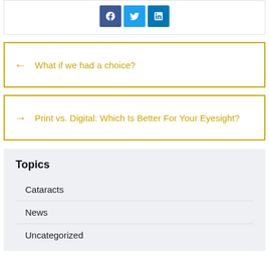[Figure (other): Social media sharing icons: Facebook (blue), Twitter (light blue), LinkedIn (dark blue)]
← What if we had a choice?
→ Print vs. Digital: Which Is Better For Your Eyesight?
Topics
Cataracts
News
Uncategorized